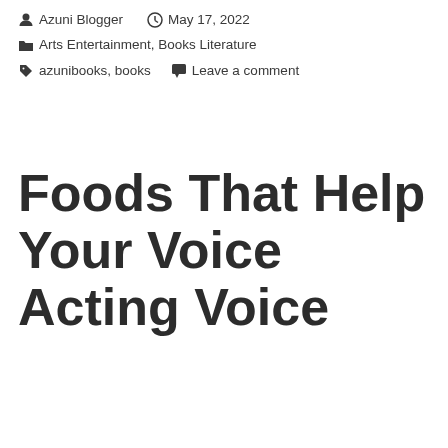Azuni Blogger  May 17, 2022  Arts Entertainment, Books Literature  azunibooks, books  Leave a comment
Foods That Help Your Voice Acting Voice